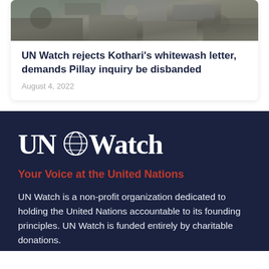[Figure (photo): Overhead crowd/debris photo used as article thumbnail]
UN Watch rejects Kothari's whitewash letter, demands Pillay inquiry be disbanded
August 4, 2022
[Figure (logo): UN Watch logo with globe icon]
Your Voice at the United Nations
UN Watch is a non-profit organization dedicated to holding the United Nations accountable to its founding principles. UN Watch is funded entirely by charitable donations.